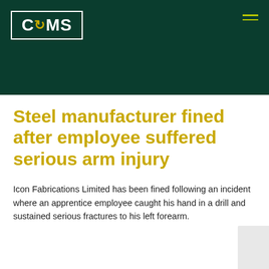CQMS
Steel manufacturer fined after employee suffered serious arm injury
Icon Fabrications Limited has been fined following an incident where an apprentice employee caught his hand in a drill and sustained serious fractures to his left forearm.